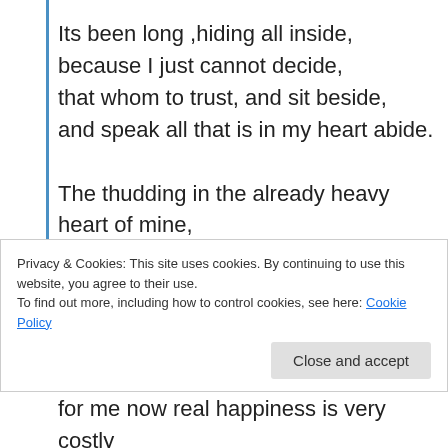Its been long ,hiding all inside,
because I just cannot decide,
that whom to trust, and sit beside,
and speak all that is in my heart abide.
The thudding in the already heavy heart of mine,
is taking away far all my face and life's shine,
I am not happy whether I  sit to study or to dine,
Privacy & Cookies: This site uses cookies. By continuing to use this website, you agree to their use.
To find out more, including how to control cookies, see here: Cookie Policy
for me now real happiness is very costly